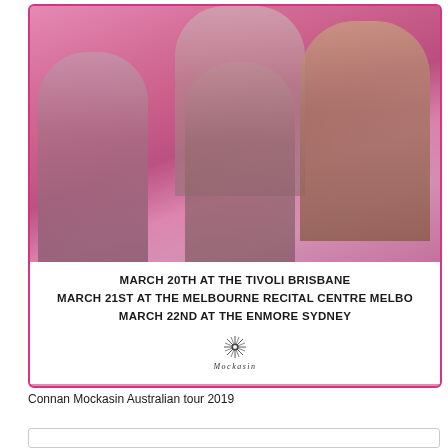[Figure (photo): Concert tour poster for Connan Mockasin Australian tour 2019. Pink background with multiple band member portraits overlaid. Bottom section shows tour dates in bold black text on white background, with a stylized flower/starburst logo and 'Mockasin' handwritten text.]
Connan Mockasin Australian tour 2019